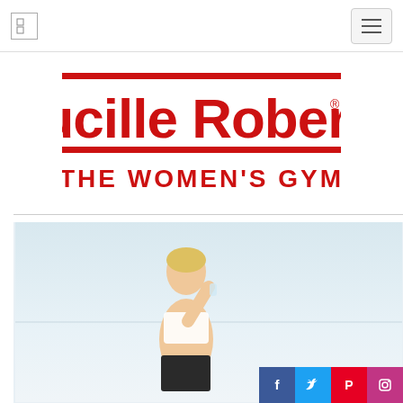Navigation bar with logo placeholder and hamburger menu
[Figure (logo): Lucille Roberts – The Women's Gym logo in red with horizontal bars above and below the wordmark]
[Figure (photo): Woman in athletic wear (white sports bra and black shorts) drinking water against a light background]